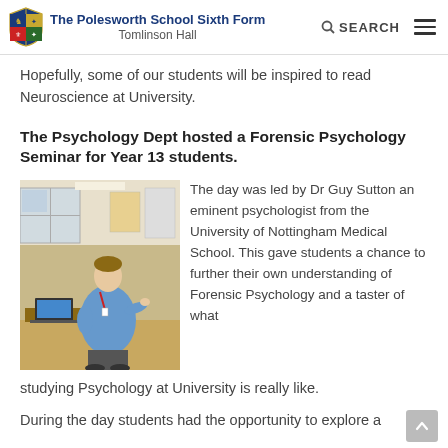The Polesworth School Sixth Form Tomlinson Hall
Hopefully, some of our students will be inspired to read Neuroscience at University.
The Psychology Dept hosted a Forensic Psychology Seminar for Year 13 students.
[Figure (photo): A man (Dr Guy Sutton) standing in a classroom, wearing a blue shirt and lanyard, presenting at the front of the room with a laptop on a desk.]
The day was led by Dr Guy Sutton an eminent psychologist from the University of Nottingham Medical School. This gave students a chance to further their own understanding of Forensic Psychology and a taster of what studying Psychology at University is really like.
During the day students had the opportunity to explore a